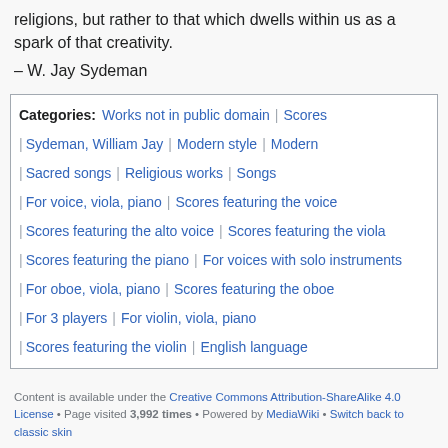religions, but rather to that which dwells within us as a spark of that creativity.
– W. Jay Sydeman
Categories: Works not in public domain | Scores | Sydeman, William Jay | Modern style | Modern | Sacred songs | Religious works | Songs | For voice, viola, piano | Scores featuring the voice | Scores featuring the alto voice | Scores featuring the viola | Scores featuring the piano | For voices with solo instruments | For oboe, viola, piano | Scores featuring the oboe | For 3 players | For violin, viola, piano | Scores featuring the violin | English language
Content is available under the Creative Commons Attribution-ShareAlike 4.0 License • Page visited 3,992 times • Powered by MediaWiki • Switch back to classic skin